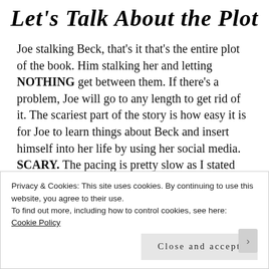Let's Talk About the Plot
Joe stalking Beck, that's it that's the entire plot of the book. Him stalking her and letting NOTHING get between them. If there's a problem, Joe will go to any length to get rid of it. The scariest part of the story is how easy it is for Joe to learn things about Beck and insert himself into her life by using her social media. SCARY. The pacing is pretty slow as I stated earlier, I mean literally all Joe does is creep on Beck 24/7. It gets
Privacy & Cookies: This site uses cookies. By continuing to use this website, you agree to their use.
To find out more, including how to control cookies, see here: Cookie Policy
Close and accept